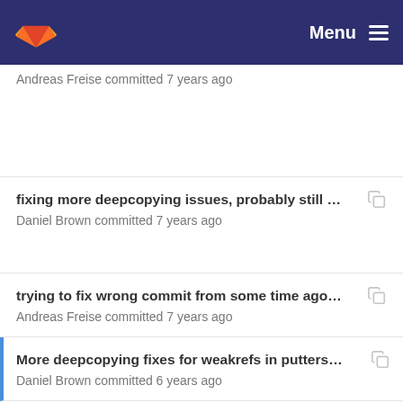Menu
Andreas Freise committed 7 years ago
fixing more deepcopying issues, probably still so... Daniel Brown committed 7 years ago
trying to fix wrong commit from some time ago, st... Andreas Freise committed 7 years ago
More deepcopying fixes for weakrefs in putters an... Daniel Brown committed 6 years ago
trying to fix wrong commit from some time ago, st... Andreas Freise committed 7 years ago